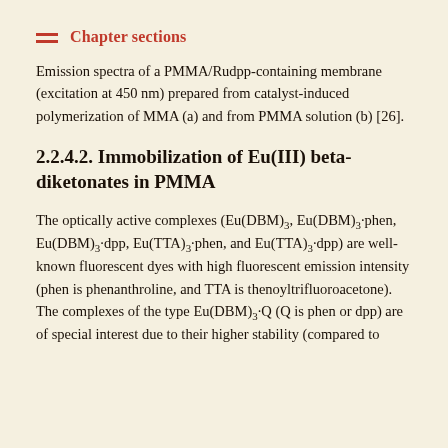Chapter sections
Emission spectra of a PMMA/Rudpp-containing membrane (excitation at 450 nm) prepared from catalyst-induced polymerization of MMA (a) and from PMMA solution (b) [26].
2.2.4.2. Immobilization of Eu(III) beta-diketonates in PMMA
The optically active complexes (Eu(DBM)3, Eu(DBM)3·phen, Eu(DBM)3·dpp, Eu(TTA)3·phen, and Eu(TTA)3·dpp) are well-known fluorescent dyes with high fluorescent emission intensity (phen is phenanthroline, and TTA is thenoyltrifluoroacetone). The complexes of the type Eu(DBM)3·Q (Q is phen or dpp) are of special interest due to their higher stability (compared to